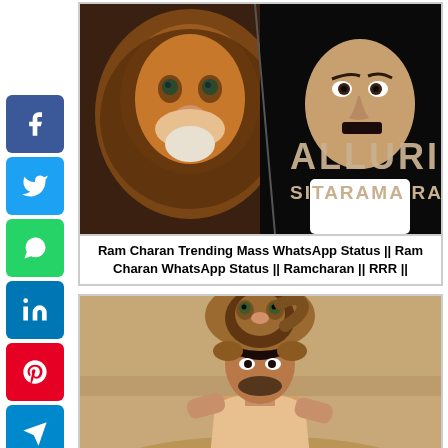[Figure (screenshot): Social media share sidebar with Facebook, Twitter, WhatsApp, LinkedIn, Pinterest, Telegram, and More buttons on left side of page]
[Figure (photo): Movie poster: split image of a lion face and Ram Charan face, with text 'ALLURI SITARAMA RAJU' on black background]
Ram Charan Trending Mass WhatsApp Status || Ram Charan WhatsApp Status || Ramcharan || RRR ||
[Figure (photo): Movie promotional image: Ram Charan as warrior with lion leaping behind him on sandy/dusty background]
Ram Charan Trending Mass WhatsApp Status || Ram